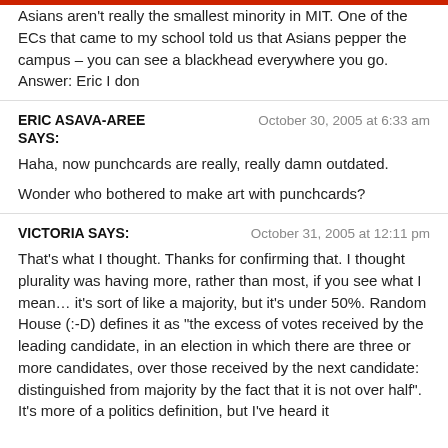Asians aren't really the smallest minority in MIT. One of the ECs that came to my school told us that Asians pepper the campus – you can see a blackhead everywhere you go.
Answer: Eric I don
ERIC ASAVA-AREE SAYS:
October 30, 2005 at 6:33 am

Haha, now punchcards are really, really damn outdated.

Wonder who bothered to make art with punchcards?
VICTORIA SAYS:
October 31, 2005 at 12:11 pm

That's what I thought. Thanks for confirming that. I thought plurality was having more, rather than most, if you see what I mean... it's sort of like a majority, but it's under 50%. Random House (:-D) defines it as "the excess of votes received by the leading candidate, in an election in which there are three or more candidates, over those received by the next candidate: distinguished from majority by the fact that it is not over half". It's more of a politics definition, but I've heard it